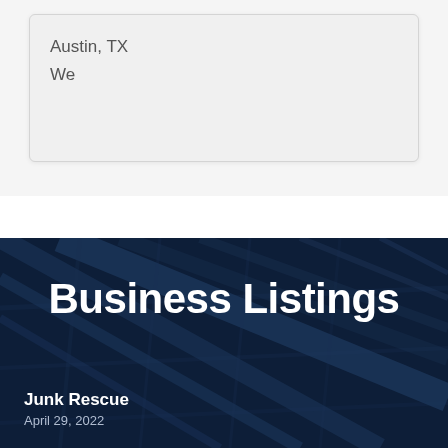Austin, TX
We
Business Listings
Junk Rescue
April 29, 2022